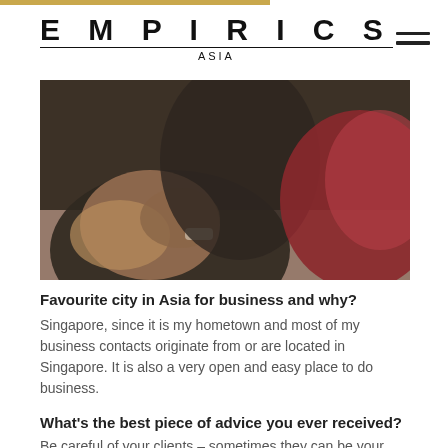EMPIRICS ASIA
[Figure (photo): Close-up blurred photo of people at a business meeting, showing hands on a table with one person in a dark suit and another in red.]
Favourite city in Asia for business and why?
Singapore, since it is my hometown and most of my business contacts originate from or are located in Singapore. It is also a very open and easy place to do business.
What’s the best piece of advice you ever received?
Be careful of your clients – sometimes they can be your